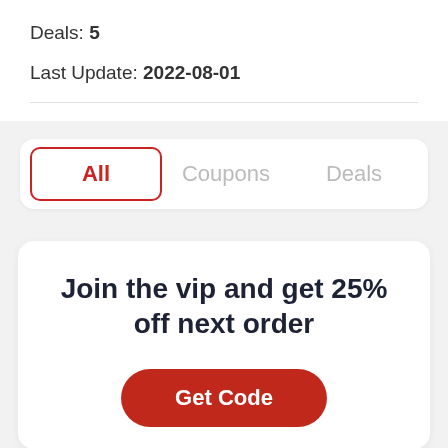Deals: 5
Last Update: 2022-08-01
All   Coupons   Deals
Join the vip and get 25% off next order
Get Code